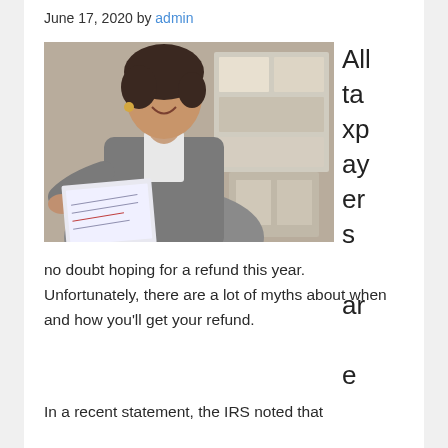June 17, 2020 by admin
[Figure (photo): A smiling woman in a grey blazer holding up a document or check toward the camera, in an office setting with shelves in the background.]
All taxpayers are no doubt hoping for a refund this year. Unfortunately, there are a lot of myths about when and how you'll get your refund.
In a recent statement, the IRS noted that